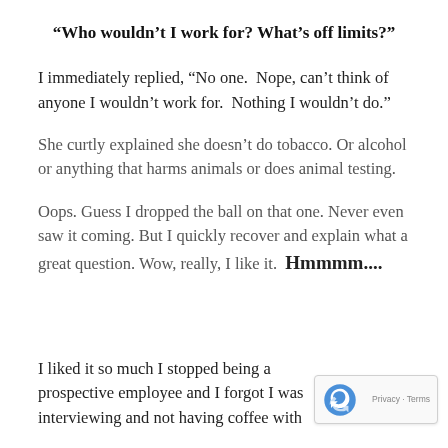“Who wouldn’t I work for? What’s off limits?”
I immediately replied, “No one.  Nope, can’t think of anyone I wouldn’t work for.  Nothing I wouldn’t do.”
She curtly explained she doesn’t do tobacco. Or alcohol or anything that harms animals or does animal testing.
Oops. Guess I dropped the ball on that one. Never even saw it coming. But I quickly recover and explain what a great question. Wow, really, I like it.  Hmmmm....
I liked it so much I stopped being a prospective emp... I forgot I was interviewing and not having coffee with...